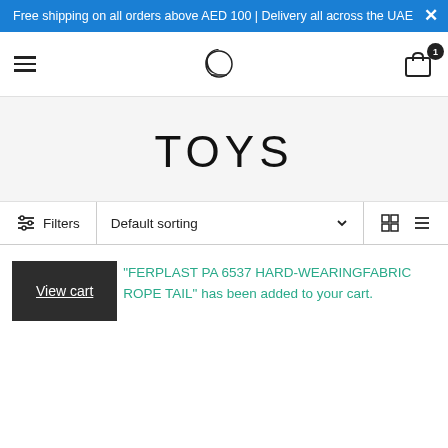Free shipping on all orders above AED 100 | Delivery all across the UAE
[Figure (screenshot): E-commerce website navigation bar with hamburger menu, crescent moon logo, and shopping bag icon with badge showing 1 item]
TOYS
Filters | Default sorting | grid/list view icons
"FERPLAST PA 6537 HARD-WEARINGFABRIC ROPE TAIL" has been added to your cart.